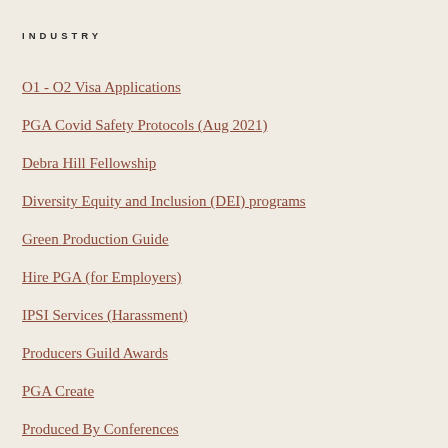INDUSTRY
O1 - O2 Visa Applications
PGA Covid Safety Protocols (Aug 2021)
Debra Hill Fellowship
Diversity Equity and Inclusion (DEI) programs
Green Production Guide
Hire PGA (for Employers)
IPSI Services (Harassment)
Producers Guild Awards
PGA Create
Produced By Conferences